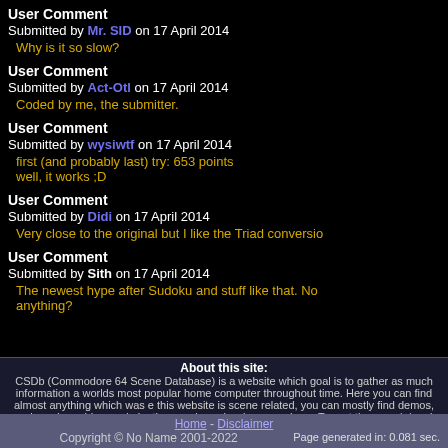User Comment
Submitted by Mr. SID on 17 April 2014
Why is it so slow?
User Comment
Submitted by Act-Otl on 17 April 2014
Coded by me, the submitter.
User Comment
Submitted by wysiwtf on 17 April 2014
first (and probably last) try: 653 points
well, it works ;D
User Comment
Submitted by Didi on 17 April 2014
Very close to the original but I like the Triad conversio
User Comment
Submitted by Sith on 17 April 2014
The newest hype after Sudoku and stuff like that. No anything?
About this site: CSDb (Commodore 64 Scene Database) is a website which goal is to gather as much information a worlds most popular home computer throughout time. Here you can find almost anything which was e this website is scene related, you can mostly find demos, music and graphics made by the people w classic games here. Try out the search box in the top right corner, or check o
Home - Disclaimer
Copyright © No Name 2001-2022
Page generated in: 0.081 sec.